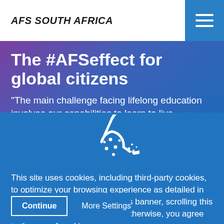AFS SOUTH AFRICA
The #AFSeffect for global citizens
"The main challenge facing lifelong education involves our capabilities to learn to live
[Figure (illustration): Cookie icon - white outline of a cookie with a bite taken out, with dots representing chocolate chips, on a blue background]
This site uses cookies, including third-party cookies, to optimize your browsing experience as detailed in our cookie policy. By closing this banner, scrolling this page, or continuing to browse otherwise, you agree to the use of cookies.
Continue
More Settings